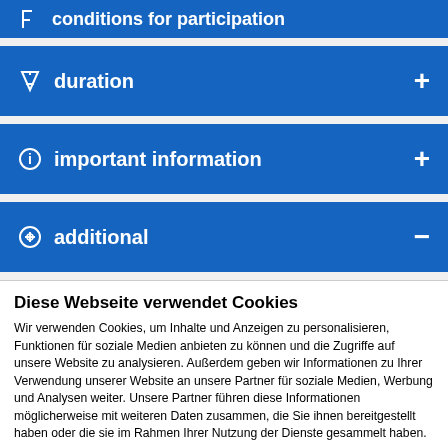conditions for participation
duration
important information
additional
Diese Webseite verwendet Cookies
Wir verwenden Cookies, um Inhalte und Anzeigen zu personalisieren, Funktionen für soziale Medien anbieten zu können und die Zugriffe auf unsere Website zu analysieren. Außerdem geben wir Informationen zu Ihrer Verwendung unserer Website an unsere Partner für soziale Medien, Werbung und Analysen weiter. Unsere Partner führen diese Informationen möglicherweise mit weiteren Daten zusammen, die Sie ihnen bereitgestellt haben oder die sie im Rahmen Ihrer Nutzung der Dienste gesammelt haben.
Cookies zulassen
Auswahl erlauben